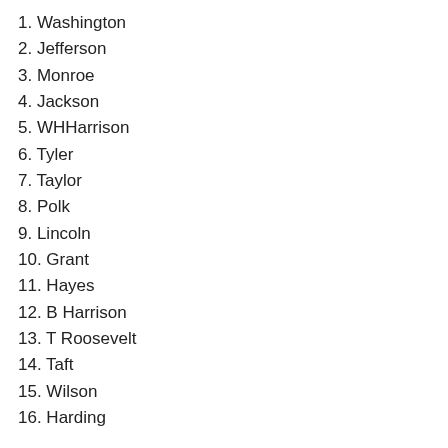1. Washington
2. Jefferson
3. Monroe
4. Jackson
5. WHHarrison
6. Tyler
7. Taylor
8. Polk
9. Lincoln
10. Grant
11. Hayes
12. B Harrison
13. T Roosevelt
14. Taft
15. Wilson
16. Harding